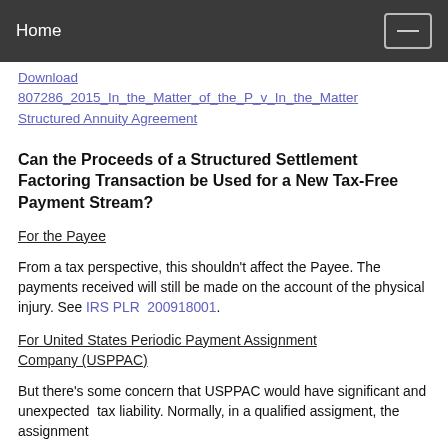Home
Download 807286_2015_In_the_Matter_of_the_P_v_In_the_Matter Structured Annuity Agreement
Can the Proceeds of a Structured Settlement Factoring Transaction be Used for a New Tax-Free Payment Stream?
For the Payee
From a tax perspective, this shouldn't affect the Payee. The payments received will still be made on the account of the physical injury. See IRS PLR 200918001.
For United States Periodic Payment Assignment Company (USPPAC)
But there's some concern that USPPAC would have significant and unexpected tax liability. Normally, in a qualified assigment, the assignment